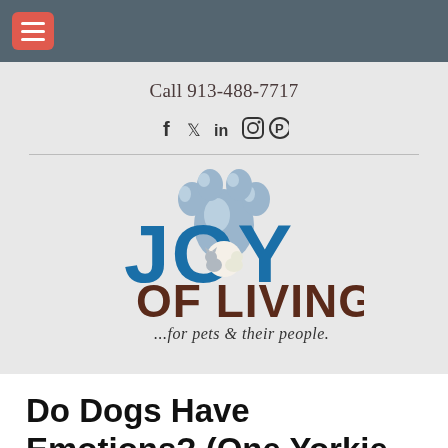Navigation menu bar with hamburger button
Call 913-488-7717
[Figure (other): Social media icons: Facebook, Twitter, LinkedIn, Instagram, Pinterest]
[Figure (logo): Joy of Living logo — bold blue JOY text with paw print, brown OF LIVING text, tagline '...for pets & their people.']
Do Dogs Have Emotions? (One Yorkie-Poo Guest Blogger Excitedly Reports, "Yes, We